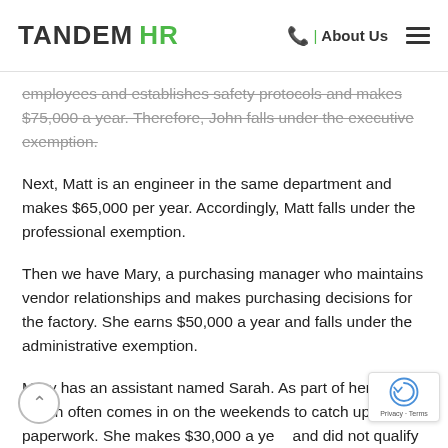TANDEM HR | About Us
employees and establishes safety protocols and makes $75,000 a year. Therefore, John falls under the executive exemption.
Next, Matt is an engineer in the same department and makes $65,000 per year. Accordingly, Matt falls under the professional exemption.
Then we have Mary, a purchasing manager who maintains vendor relationships and makes purchasing decisions for the factory. She earns $50,000 a year and falls under the administrative exemption.
Mary has an assistant named Sarah. As part of her duties, Sarah often comes in on the weekends to catch up on paperwork. She makes $30,000 a year and did not qualify for overtime before the new 2020